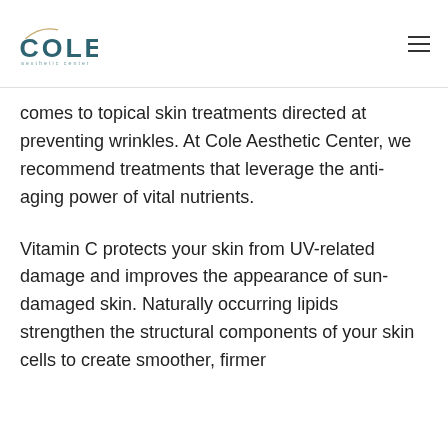COLE aesthetic center
comes to topical skin treatments directed at preventing wrinkles. At Cole Aesthetic Center, we recommend treatments that leverage the anti-aging power of vital nutrients.
Vitamin C protects your skin from UV-related damage and improves the appearance of sun-damaged skin. Naturally occurring lipids strengthen the structural components of your skin cells to create smoother, firmer